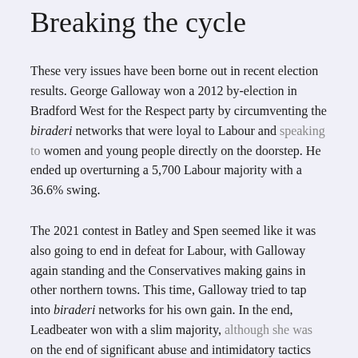Breaking the cycle
These very issues have been borne out in recent election results. George Galloway won a 2012 by-election in Bradford West for the Respect party by circumventing the biraderi networks that were loyal to Labour and speaking to women and young people directly on the doorstep. He ended up overturning a 5,700 Labour majority with a 36.6% swing.
The 2021 contest in Batley and Spen seemed like it was also going to end in defeat for Labour, with Galloway again standing and the Conservatives making gains in other northern towns. This time, Galloway tried to tap into biraderi networks for his own gain. In the end, Leadbeater won with a slim majority, although she was on the end of significant abuse and intimidatory tactics from some male Muslim activists. Labour's